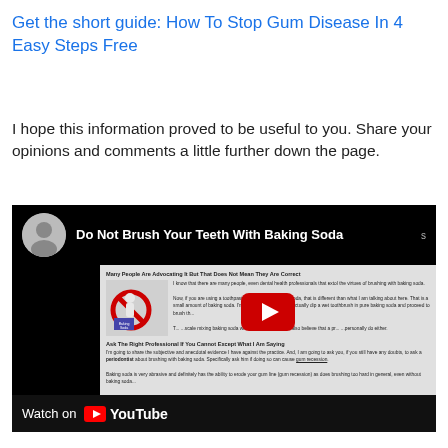Get the short guide:   How To Stop Gum Disease In 4 Easy Steps  Free
I hope this information proved to be useful to you. Share your opinions and comments a little further down the page.
[Figure (screenshot): Embedded YouTube video thumbnail showing 'Do Not Brush Your Teeth With Baking Soda' with presenter avatar, video content preview including text about baking soda, and a YouTube play button overlay. Bottom bar shows 'Watch on YouTube' logo.]